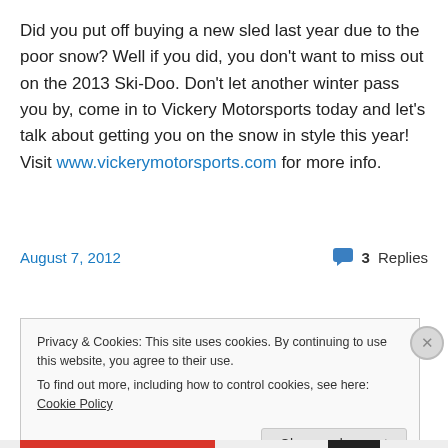Did you put off buying a new sled last year due to the poor snow? Well if you did, you don't want to miss out on the 2013 Ski-Doo. Don't let another winter pass you by, come in to Vickery Motorsports today and let's talk about getting you on the snow in style this year! Visit www.vickerymotorsports.com for more info.
August 7, 2012
3 Replies
Privacy & Cookies: This site uses cookies. By continuing to use this website, you agree to their use.
To find out more, including how to control cookies, see here: Cookie Policy